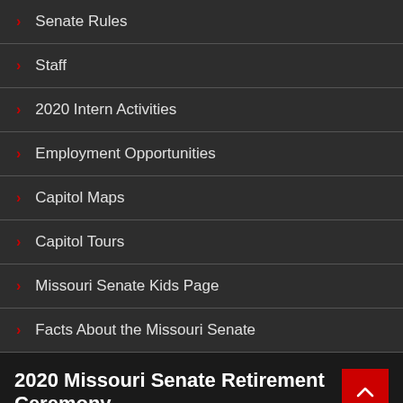Senate Rules
Staff
2020 Intern Activities
Employment Opportunities
Capitol Maps
Capitol Tours
Missouri Senate Kids Page
Facts About the Missouri Senate
2020 Missouri Senate Retirement Ceremony
[Figure (screenshot): Video thumbnail for '2020 Missouri Senate Retirement Cer...' with a Missouri seal icon on the left and a three-dot menu on the right]